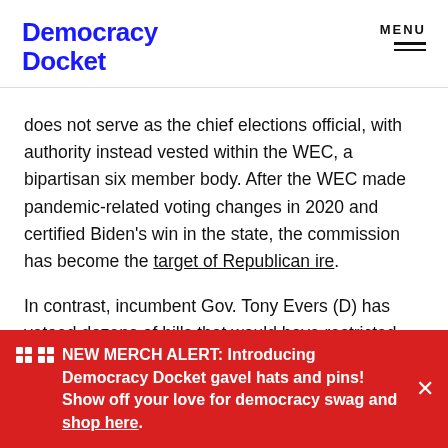Democracy Docket
does not serve as the chief elections official, with authority instead vested within the WEC, a bipartisan six member body. After the WEC made pandemic-related voting changes in 2020 and certified Biden’s win in the state, the commission has become the target of Republican ire.
In contrast, incumbent Gov. Tony Evers (D) has vetoed dozens of bills that would have restricted voting or handed partisan actors more election control. Evers is seeking re-election after a narrow win in 2018 and withstanding the full force of the GOP after another
NEW MERCH ALERT: Introducing Democracy Docket gavel hats and pins! Show off your love for democracy swag and shop here.